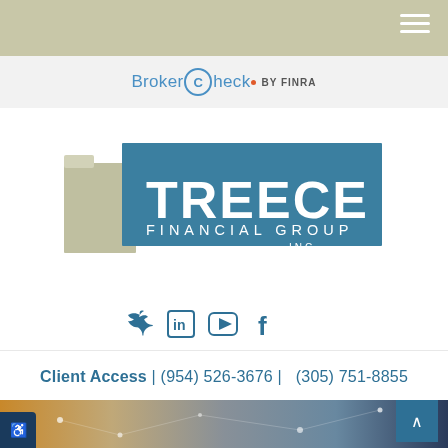[Figure (logo): BrokerCheck by FINRA logo in header navigation bar]
[Figure (logo): Treece Financial Group Inc. company logo with teal rectangle and beige folder icon]
[Figure (infographic): Social media icons row: Twitter, LinkedIn, YouTube, Facebook in teal color]
Client Access | (954) 526-3676 |    (305) 751-8855
[Figure (photo): Background photo showing hands typing on a keyboard with glowing network/technology overlay]